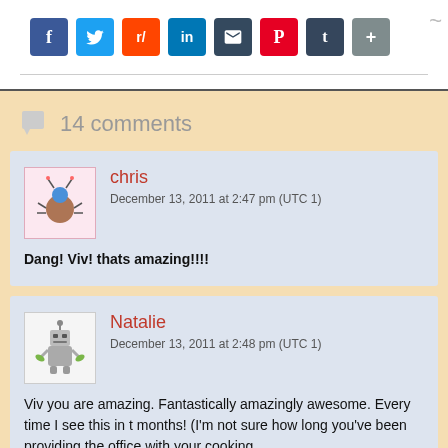[Figure (other): Social share buttons: Facebook, Twitter, Reddit, LinkedIn, Email, Pinterest, Tumblr, Share]
14 comments
chris
December 13, 2011 at 2:47 pm (UTC 1)
Dang! Viv! thats amazing!!!!
Natalie
December 13, 2011 at 2:48 pm (UTC 1)
Viv you are amazing. Fantastically amazingly awesome. Every time I see this in t months! (I'm not sure how long you've been providing the office with your cooking x